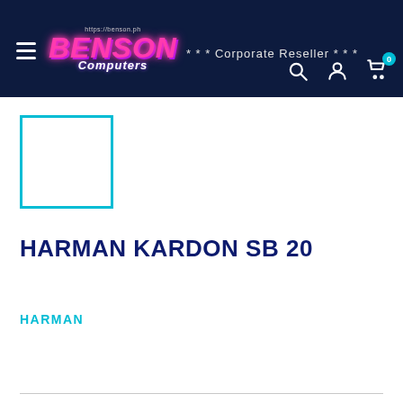https://benson.ph  BENSON Computers  *** Corporate Reseller ***
[Figure (screenshot): Product thumbnail placeholder — teal/cyan outlined square box with white interior]
HARMAN KARDON SB 20
HARMAN